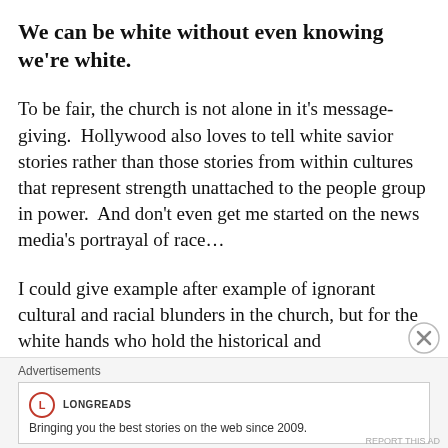We can be white without even knowing we're white.
To be fair, the church is not alone in it's message-giving.  Hollywood also loves to tell white savior stories rather than those stories from within cultures that represent strength unattached to the people group in power.  And don't even get me started on the news media's portrayal of race...
I could give example after example of ignorant cultural and racial blunders in the church, but for the white hands who hold the historical and institutional power, it basically boils down to this:
Advertisements
Bringing you the best stories on the web since 2009.